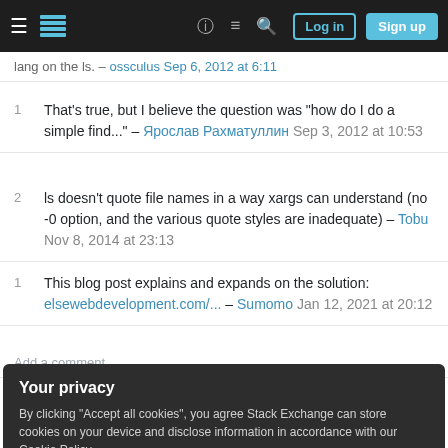Stack Exchange navigation bar with hamburger menu, logo, help, chat, search, Log in, Sign up buttons
lang on the ls. – [username] Sep 6, 2012 at 6:11
1  That's true, but I believe the question was "how do I do a simple find..." – Ярослав Рахматуллин Sep 3, 2012 at 10:53
2  ls doesn't quote file names in a way xargs can understand (no -0 option, and the various quote styles are inadequate) – Tobu Nov 8, 2014 at 23:13
1  This blog post explains and expands on the solution: elsewebdevelopment.com/... – Sumomo Jan 12, 2021 at 20:12
Add a comment
Your privacy
By clicking "Accept all cookies", you agree Stack Exchange can store cookies on your device and disclose information in accordance with our Cookie Policy.
Accept all cookies  Customize settings
For each file, this first outputs the numeric